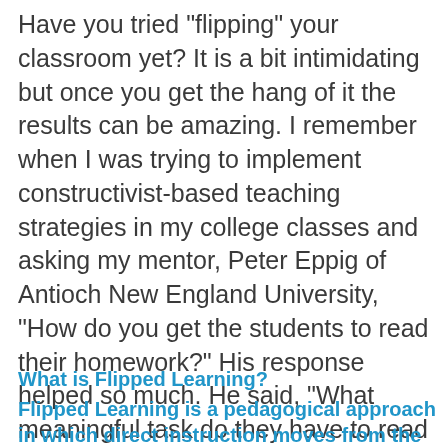Have you tried "flipping" your classroom yet? It is a bit intimidating but once you get the hang of it the results can be amazing. I remember when I was trying to implement constructivist-based teaching strategies in my college classes and asking my mentor, Peter Eppig of Antioch New England University, "How do you get the students to read their homework?" His response helped so much. He said, "What meaningful task do they have to read the homework for?" When I started creating more meaningful classroom tasks for my students they realized they couldn't do them without having read the material, watched the video, or listened to the lecture.
What is Flipped Learning?
Flipped Learning is a pedagogical approach in which direct instruction moves from the group learning space to the individual learning space, and the resulting group space is